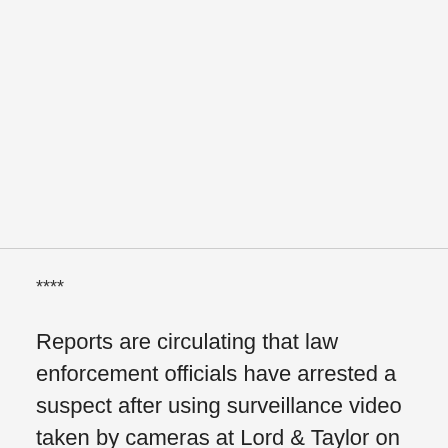****
Reports are circulating that law enforcement officials have arrested a suspect after using surveillance video taken by cameras at Lord & Taylor on Boylston Street.